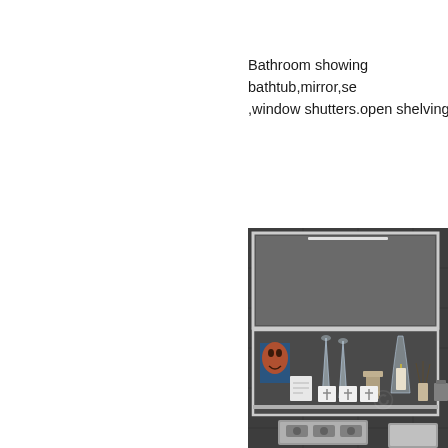Bathroom showing bathtub,mirror,se,window shutters.open shelving
[Figure (photo): Bathroom open shelving unit built into dark gray tiled wall, showing decorative items including tall glass vases/champagne flutes, a decorative face mask, white candles with cross motifs, a candle on a pedestal, reed diffuser, and a small card. Below the shelf are chrome shower controls and the beginning of another fixture. The image is cropped showing only the right portion of the bathroom.]